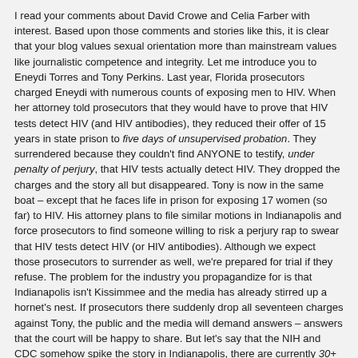I read your comments about David Crowe and Celia Farber with interest. Based upon those comments and stories like this, it is clear that your blog values sexual orientation more than mainstream values like journalistic competence and integrity. Let me introduce you to Eneydi Torres and Tony Perkins. Last year, Florida prosecutors charged Eneydi with numerous counts of exposing men to HIV. When her attorney told prosecutors that they would have to prove that HIV tests detect HIV (and HIV antibodies), they reduced their offer of 15 years in state prison to five days of unsupervised probation. They surrendered because they couldn't find ANYONE to testify, under penalty of perjury, that HIV tests actually detect HIV. They dropped the charges and the story all but disappeared. Tony is now in the same boat – except that he faces life in prison for exposing 17 women (so far) to HIV. His attorney plans to file similar motions in Indianapolis and force prosecutors to find someone willing to risk a perjury rap to swear that HIV tests detect HIV (or HIV antibodies). Although we expect those prosecutors to surrender as well, we're prepared for trial if they refuse. The problem for the industry you propagandize for is that Indianapolis isn't Kissimmee and the media has already stirred up a hornet's nest. If prosecutors there suddenly drop all seventeen charges against Tony, the public and the media will demand answers – answers that the court will be happy to share. But let's say that the NIH and CDC somehow spike the story in Indianapolis, there are currently 30+ other cases like Tony's throughout the US and Canada. It is my hope that gay bloggers like you will blog these cases and explain why they helped the pharmaceutical industry poison thousands of gay men to sell their HIV advertising. Sooner or later, mainstream Americans will demand